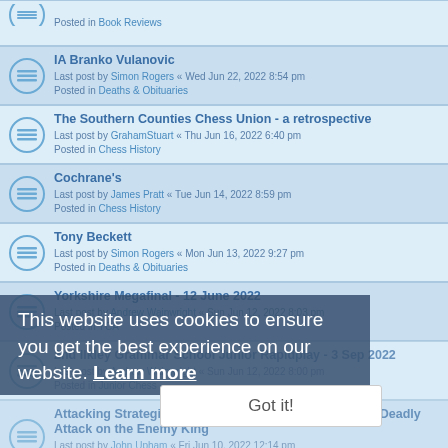Posted in Book Reviews
IA Branko Vulanovic
Last post by Simon Rogers « Wed Jun 22, 2022 8:54 pm
Posted in Deaths & Obituaries
The Southern Counties Chess Union - a retrospective
Last post by GrahamStuart « Thu Jun 16, 2022 6:40 pm
Posted in Chess History
Cochrane's
Last post by James Pratt « Tue Jun 14, 2022 8:59 pm
Posted in Chess History
Tony Beckett
Last post by Simon Rogers « Mon Jun 13, 2022 9:27 pm
Posted in Deaths & Obituaries
Yorkshire Megafinal - 12 June 2022
Last post by Andrew Wainwright « Sun Jun 12, 2022 8:03 pm
Posted in YCA
2nd Ilkley Grammar School Junior Rapidplay - 3 Sep 2022
Last post by Andrew Wainwright « Sun Jun 12, 2022 8:00 pm
Posted in Junior Chess
Attacking Strategies for Club Players: How to Create a Deadly Attack on the Enemy King
Last post by John Upham « Fri Jun 10, 2022 12:14 pm
Posted in Book Reviews
Lancaster Rapidplay Saturday 18 June 2022
Last post by Mick Norris « Mon Jun 06, 2022 8:10 am
Posted in Congress Diary
This website uses cookies to ensure you get the best experience on our website. Learn more
Got it!